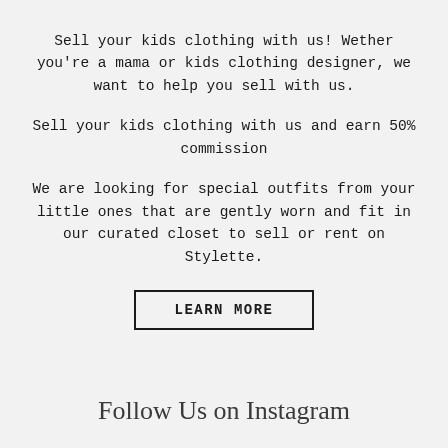Sell your kids clothing with us! Wether you're a mama or kids clothing designer, we want to help you sell with us.
Sell your kids clothing with us and earn 50% commission
We are looking for special outfits from your little ones that are gently worn and fit in our curated closet to sell or rent on Stylette.
LEARN MORE
Follow Us on Instagram